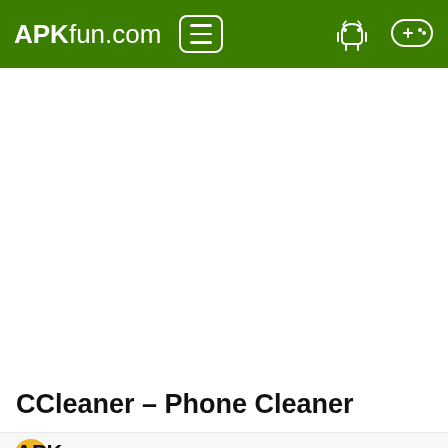APKfun.com
CCleaner – Phone Cleaner
TOOLS » Download CCleaner – Phone Cleaner APK